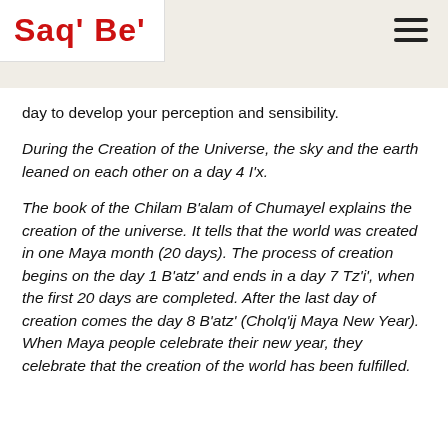Saq' Be'
day to develop your perception and sensibility.
During the Creation of the Universe, the sky and the earth leaned on each other on a day 4 I'x.
The book of the Chilam B'alam of Chumayel explains the creation of the universe. It tells that the world was created in one Maya month (20 days). The process of creation begins on the day 1 B'atz' and ends in a day 7 Tz'i', when the first 20 days are completed. After the last day of creation comes the day 8 B'atz' (Cholq'ij Maya New Year). When Maya people celebrate their new year, they celebrate that the creation of the world has been fulfilled.